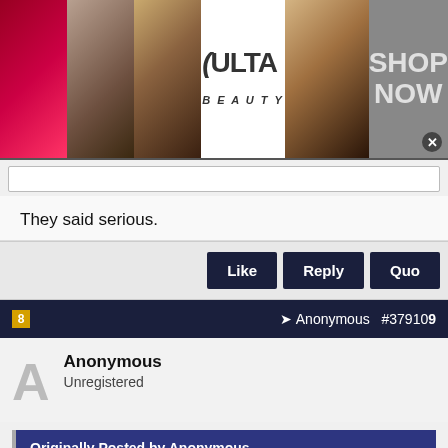[Figure (screenshot): Ulta Beauty advertisement banner with makeup images (lips, brush, eye) and ULTA logo with SHOP NOW text]
They said serious.
Like  Reply  Quo
Anonymous #37910...
Anonymous
Unregistered
Originally Posted by Anonymous
Originally Posted by Anonymous
[Figure (screenshot): Frontgate outdoor furniture advertisement: 25% off site wide sale going on now at Frontgate.com]